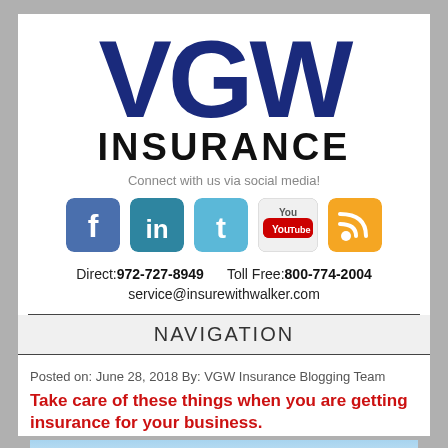VGW INSURANCE
Connect with us via social media!
[Figure (logo): Social media icons: Facebook, LinkedIn, Twitter, YouTube, RSS feed]
Direct: 972-727-8949   Toll Free: 800-774-2004
service@insurewithwalker.com
NAVIGATION
Posted on: June 28, 2018 By: VGW Insurance Blogging Team
Take care of these things when you are getting insurance for your business.
[Figure (photo): Partial image visible at bottom of page]